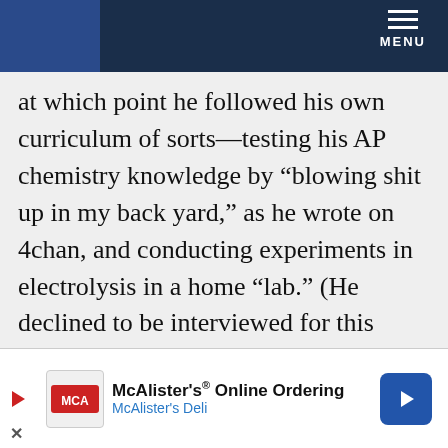MENU
at which point he followed his own curriculum of sorts—testing his AP chemistry knowledge by “blowing shit up in my back yard,” as he wrote on 4chan, and conducting experiments in electrolysis in a home “lab.” (He declined to be interviewed for this article, but posts he made on message boards over the past decade offer an extensive catalog of his thoughts.) His interests often dovetailed with his anxieties, none
[Figure (other): McAlister's Deli advertisement banner with logo, text 'McAlister's® Online Ordering / McAlister's Deli', and a blue navigation arrow button]